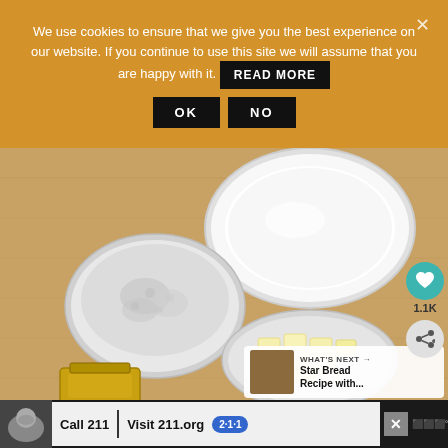We use cookies to ensure that we give you the best experience on our website. If you continue to use this site we will assume that you are happy with it.  READ MORE  OK  NO
[Figure (photo): Overhead view of baking ingredients on a wooden board: a bowl of flour (gray/white powder), a large bowl of milk (white liquid), a bowl of butter cubes (yellow/white chunks), and a jar with yellow liquid (oil). Food photography in natural light.]
1.1K
WHAT'S NEXT → Star Bread Recipe with...
Call 211 | Visit 211.org  2·1·1